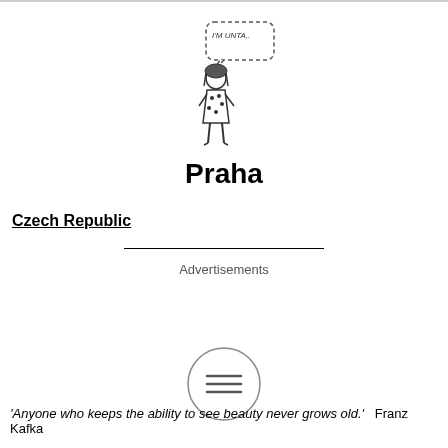[Figure (illustration): A cartoon girl in a polka-dot dress with a speech bubble saying 'I'M UNTA...']
Praha
Czech Republic
Advertisements
[Figure (illustration): A circular menu button with three horizontal lines (hamburger icon)]
'Anyone who keeps the ability to see beauty never grows old.'  Franz Kafka